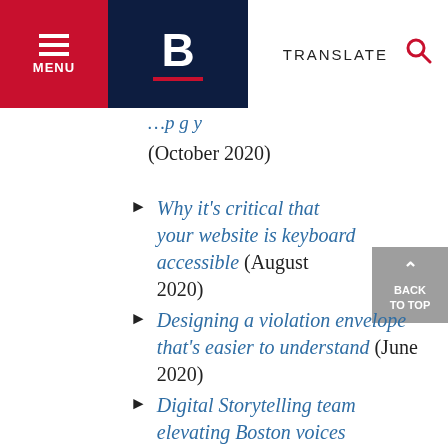MENU | B | TRANSLATE
(October 2020)
Why it's critical that your website is keyboard accessible (August 2020)
Designing a violation envelope that's easier to understand (June 2020)
Digital Storytelling team elevating Boston voices (November 2019)